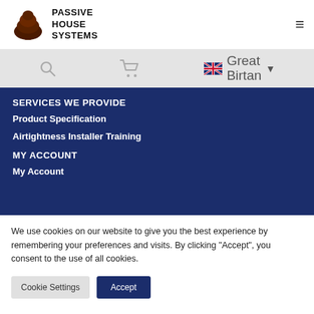PASSIVE HOUSE SYSTEMS
SERVICES WE PROVIDE
Product Specification
Airtightness Installer Training
MY ACCOUNT
My Account
We use cookies on our website to give you the best experience by remembering your preferences and visits. By clicking "Accept", you consent to the use of all cookies.
Cookie Settings | Accept